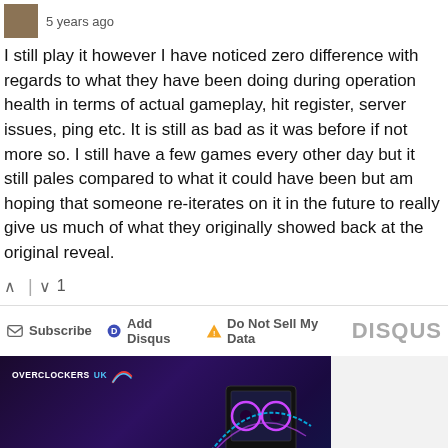5 years ago
I still play it however I have noticed zero difference with regards to what they have been doing during operation health in terms of actual gameplay, hit register, server issues, ping etc. It is still as bad as it was before if not more so. I still have a few games every other day but it still pales compared to what it could have been but am hoping that someone re-iterates on it in the future to really give us much of what they originally showed back at the original reveal.
▲ | ▼ 1
✉ Subscribe  ● Add Disqus  ▲ Do Not Sell My Data   DISQUS
[Figure (photo): Overclockers UK advertisement banner showing a custom gaming PC with RGB lighting and glowing neon light effects on dark background. Text reads: OVERCLOCKERS UK CUSTOM GAMING PCS FOR EVERY PLAYER]
I'm in the market for a new...
[Figure (photo): Two advertisement panels side by side: left panel shows dark carbon fiber texture, right panel shows bright green Razer gaming brand background with snake logo]